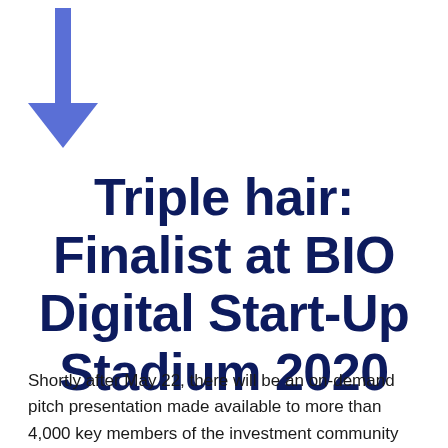[Figure (illustration): A blue downward-pointing arrow icon in the upper left area of the page]
Triple hair: Finalist at BIO Digital Start-Up Stadium 2020
Shortly after May 22, there will be an on-demand pitch presentation made available to more than 4,000 key members of the investment community